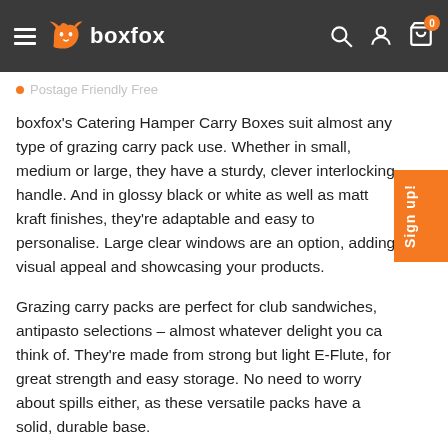boxfox navigation header with logo, search, account, and cart icons
Postage Friendly Free
boxfox's Catering Hamper Carry Boxes suit almost any type of grazing carry pack use. Whether in small, medium or large, they have a sturdy, clever interlocking handle. And in glossy black or white as well as matt kraft finishes, they're adaptable and easy to personalise. Large clear windows are an option, adding visual appeal and showcasing your products.
Grazing carry packs are perfect for club sandwiches, antipasto selections – almost whatever delight you can think of. They're made from strong but light E-Flute, for great strength and easy storage. No need to worry about spills either, as these versatile packs have a solid, durable base.
Designed for quick use, our grazing carry packs come conveniently flat-packed and assemble in seconds. The four locking tabs are simple to pop in place and keep the pack and its contents secure. Whatever you put in